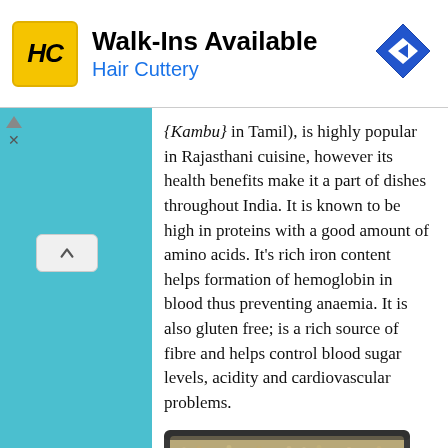[Figure (screenshot): Advertisement banner for Hair Cuttery with yellow HC logo, text 'Walk-Ins Available' and 'Hair Cuttery' in blue, and a blue diamond arrow icon on the right]
{Kambu} in Tamil), is highly popular in Rajasthani cuisine, however its health benefits make it a part of dishes throughout India. It is known to be high in proteins with a good amount of amino acids. It's rich iron content helps formation of hemoglobin in blood thus preventing anaemia. It is also gluten free; is a rich source of fibre and helps control blood sugar levels, acidity and cardiovascular problems.
[Figure (photo): Close-up photo of pearl millet (kambu/bajra) grains in a dark bowl, showing small round light-colored grains]